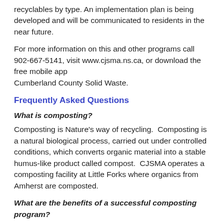recyclables by type. An implementation plan is being developed and will be communicated to residents in the near future.
For more information on this and other programs call 902-667-5141, visit www.cjsma.ns.ca, or download the free mobile app
Cumberland County Solid Waste.
Frequently Asked Questions
What is composting?
Composting is Nature's way of recycling.  Composting is a natural biological process, carried out under controlled conditions, which converts organic material into a stable humus-like product called compost.  CJSMA operates a composting facility at Little Forks where organics from Amherst are composted.
What are the benefits of a successful composting program?
In addition to diverting a large proportion of the waste